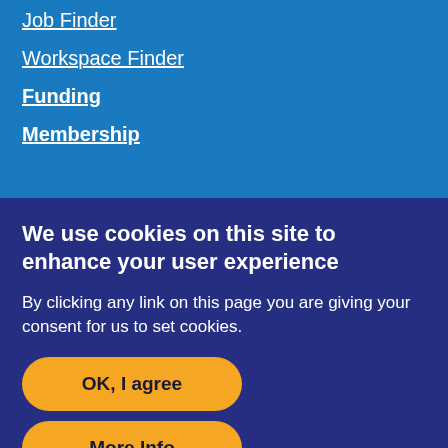Job Finder
Workspace Finder
Funding
Membership
We use cookies on this site to enhance your user experience
By clicking any link on this page you are giving your consent for us to set cookies.
OK, I agree
More Info